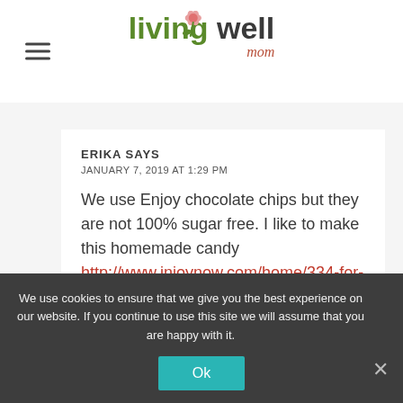[Figure (logo): Living Well Mom logo with green and dark text and pink flower, hamburger menu icon on left]
ERIKA SAYS
JANUARY 7, 2019 AT 1:29 PM
We use Enjoy chocolate chips but they are not 100% sugar free. I like to make this homemade candy http://www.injoynow.com/home/334-for-the-love-of-chocolate-candy.html and use the bits for 100% Paleo 'chocolate...
We use cookies to ensure that we give you the best experience on our website. If you continue to use this site we will assume that you are happy with it.